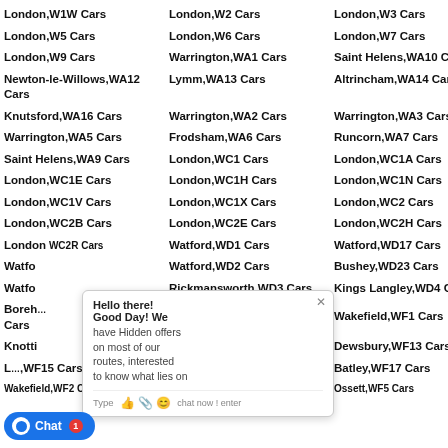London,W1W Cars | London,W2 Cars | London,W3 Cars | Lo...
London,W5 Cars | London,W6 Cars | London,W7 Cars | Lo...
London,W9 Cars | Warrington,WA1 Cars | Saint Helens,WA10 Cars | Sa...
Newton-le-Willows,WA12 Cars | Lymm,WA13 Cars | Altrincham,WA14 Cars | Al...
Knutsford,WA16 Cars | Warrington,WA2 Cars | Warrington,WA3 Cars | Wa...
Warrington,WA5 Cars | Frodsham,WA6 Cars | Runcorn,WA7 Cars | Wi...
Saint Helens,WA9 Cars | London,WC1 Cars | London,WC1A Cars | Lo...
London,WC1E Cars | London,WC1H Cars | London,WC1N Cars | Lo...
London,WC1V Cars | London,WC1X Cars | London,WC2 Cars | Lo...
London,WC2B Cars | London,WC2E Cars | London,WC2H Cars | Lo...
London,WC2R Cars | Watford,WD1 Cars | Watford,WD17 Cars | Wa...
Watford... | Watford,WD2 Cars | Bushey,WD23 Cars | Wa...
Watford... | Rickmansworth,WD3 Cars | Kings Langley,WD4 Cars | Ab...
Borehamwood... | Radlett,WD7 Cars | Wakefield,WF1 Cars | Ca...
Knottingley... | ...sDewsbury,WF12 Cars | Dewsbury,WF13 Cars | Mi...
L...WF15 Cars | Heckmondwike,WF16 Cars | Batley,WF17 Cars | Wa...
Wakefield,WF2 Cars | Wakefield,WF4 Cars | Ossett,WF5 Cars | ...